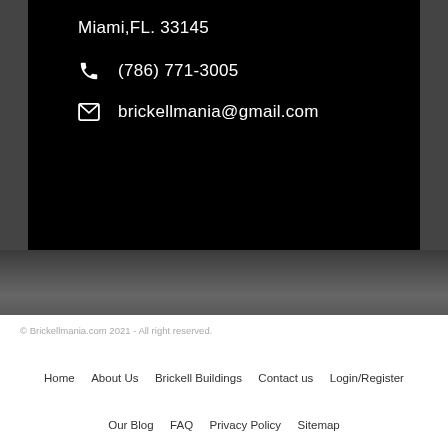Miami,FL. 33145
(786) 771-3005
brickellmania@gmail.com
© Brickellmania.com 2021 - All right reserved.
Home   About Us   Brickell Buildings   Contact us   Login/Register
Our Blog   FAQ   Privacy Policy   Sitemap